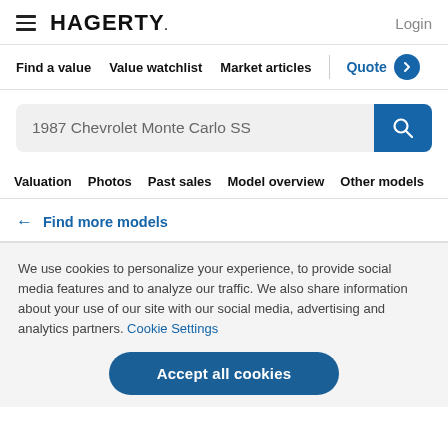HAGERTY. Login
Find a value
Value watchlist
Market articles
Quote
1987 Chevrolet Monte Carlo SS
Valuation
Photos
Past sales
Model overview
Other models
← Find more models
We use cookies to personalize your experience, to provide social media features and to analyze our traffic. We also share information about your use of our site with our social media, advertising and analytics partners. Cookie Settings
Accept all cookies